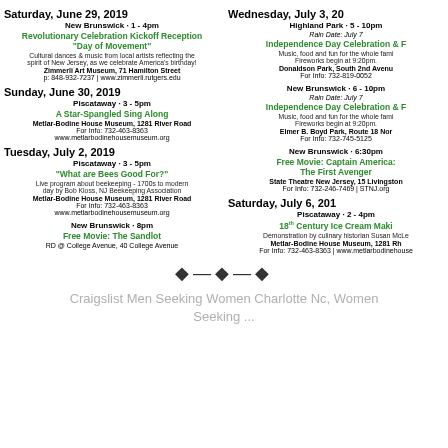Saturday, June 29, 2019
New Brunswick · 1 - 4pm
Revolutionary Celebration Kickoff Reception "Day of Movement"
Cultural dances & music from local artists reflecting the spirit of New Jersey, as we celebrate America's birthday!
Zimmerli Art Museum, 71 Hamilton Street
p: 848-932-7237 | www.zimmerli.rutgers.edu
Sunday, June 30, 2019
Piscataway · 3 - 5pm
A Star-Spangled Sing Along
Metlar-Bodine House Museum, 1281 River Road
For Info: 732-463-8363
www.metlarbodinehousemuseum.org
Tuesday, July 2, 2019
Piscataway · 3 - 5pm
"What are Bees Good For?"
Live program about beekeeping - 1700s to modern day by Bob Kloss, NJ Beekeeping Association
Metlar-Bodine House Museum, 1281 River Road
For Info: 732-463-8363
www.metlarbodinehousemuseum.org
New Brunswick · 8pm
Free Movie: The Sandlot
RD @ College Avenue, 40 College Avenue
Wednesday, July 3, 2019
Highland Park · 5 - 10pm
Rain Date: July 7
Independence Day Celebration & Fireworks
Music, food and fun for the whole family! Fireworks begin at 9:20pm.
Donaldson Park, South 2nd Avenue
For Info: 732-819-0052
New Brunswick · 6 - 10pm
Rain Date: July 7
Independence Day Celebration & Fireworks
Music, food and fun for the whole family! Fireworks begin at 9:20pm.
Elmer B. Boyd Park, Route 18 North
For Info: 732-745-5125
New Brunswick · 6:30pm
Free Movie: Captain America: The First Avenger
State Theatre New Jersey, 15 Livingston Avenue
For Info: 732-246-7469 | STNJ.org
Saturday, July 6, 2019
Piscataway · 2 - 4pm
18th Century Ice Cream Making
Demonstration by culinary historian Susan McLellan Plaisted
Metlar-Bodine House Museum, 1281 River Road
For Info: 732-463-8363 | www.metlarbodinehousemuseum.org
Craigslist Men Seeking Women Charlotte Nc, Women Seeking ...